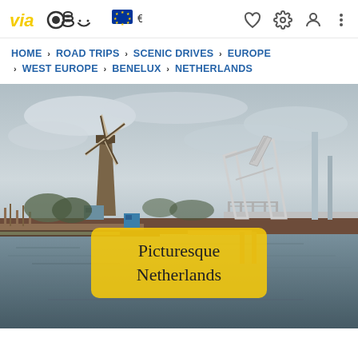ViaMichelin logo, EU € badge, navigation icons
HOME › ROAD TRIPS › SCENIC DRIVES › EUROPE › WEST EUROPE › BENELUX › NETHERLANDS
[Figure (photo): Photograph of a Dutch windmill and a white drawbridge over a canal with grey cloudy sky and water reflections. Yellow overlay box reads 'Picturesque Netherlands'.]
Picturesque Netherlands